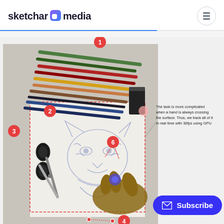sketchar media
[Figure (photo): Annotated infographic showing a person drawing a tiger sketch on paper with colored pencils and scissors nearby. Numbered red circle badges (1-4, 6) mark different objects. A dotted red rectangle outlines the drawing area. A callout text reads: 'The task is more complicated when a hand is always crossing the surface. Thus, we track all of it in real time with 30fps using GPU']
The task is more complicated when a hand is always crossing the surface. Thus, we track all of it in real time with 30fps using GPU